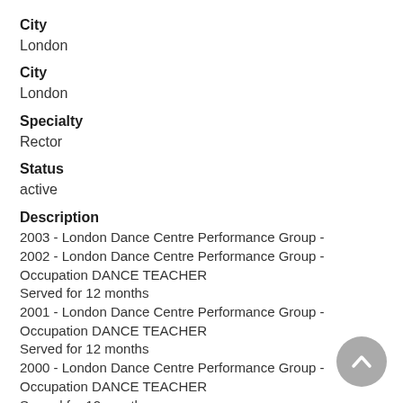City
London
City
London
Specialty
Rector
Status
active
Description
2003 - London Dance Centre Performance Group -
2002 - London Dance Centre Performance Group - Occupation DANCE TEACHER
Served for 12 months
2001 - London Dance Centre Performance Group - Occupation DANCE TEACHER
Served for 12 months
2000 - London Dance Centre Performance Group - Occupation DANCE TEACHER
Served for 12 months
2009 - Personal Attendant Care Inc. - Joined on: 2009-01-12